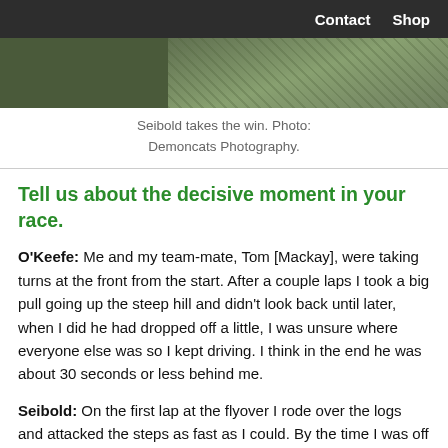Contact   Shop
[Figure (photo): Partial photo strip at top of page showing race/outdoor scene]
Seibold takes the win. Photo: Demoncats Photography.
Tell us about the decisive moment in your race.
O'Keefe: Me and my team-mate, Tom [Mackay], were taking turns at the front from the start. After a couple laps I took a big pull going up the steep hill and didn't look back until later, when I did he had dropped off a little, I was unsure where everyone else was so I kept driving. I think in the end he was about 30 seconds or less behind me.
Seibold: On the first lap at the flyover I rode over the logs and attacked the steps as fast as I could. By the time I was off the ramp I had a gap and was able to stay away.
What did you eat post-race?